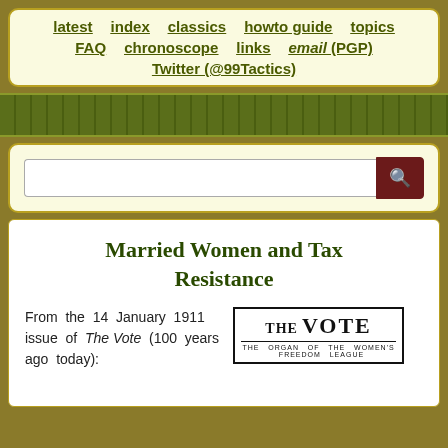latest   index   classics   howto guide   topics   FAQ   chronoscope   links   email (PGP)   Twitter (@99Tactics)
[Figure (screenshot): Search bar with dark red search button]
Married Women and Tax Resistance
From the 14 January 1911 issue of The Vote (100 years ago today):
[Figure (logo): The Vote - The Organ of the Women's Freedom League newspaper header logo]